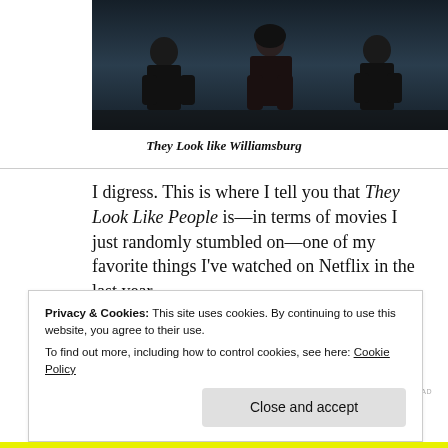[Figure (photo): Three people sitting against a dark background, appearing to be from the film They Look Like People]
They Look like Williamsburg
I digress. This is where I tell you that They Look Like People is—in terms of movies I just randomly stumbled on—one of my favorite things I've watched on Netflix in the last year.
Privacy & Cookies: This site uses cookies. By continuing to use this website, you agree to their use.
To find out more, including how to control cookies, see here: Cookie Policy
Close and accept